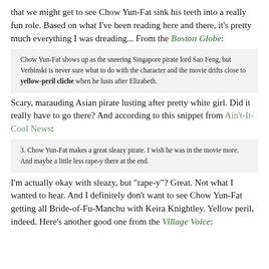that we might get to see Chow Yun-Fat sink his teeth into a really fun role. Based on what I've been reading here and there, it's pretty much everything I was dreading... From the Boston Globe:
Chow Yun-Fat shows up as the sneering Singapore pirate lord Sao Feng, but Verbinski is never sure what to do with the character and the movie drifts close to yellow-peril cliche when he lusts after Elizabeth.
Scary, marauding Asian pirate lusting after pretty white girl. Did it really have to go there? And according to this snippet from Ain't-It-Cool News:
3. Chow Yun-Fat makes a great sleazy pirate. I wish he was in the movie more. And maybe a little less rape-y there at the end.
I'm actually okay with sleazy, but "rape-y"? Great. Not what I wanted to hear. And I definitely don't want to see Chow Yun-Fat getting all Bride-of-Fu-Manchu with Keira Knightley. Yellow peril, indeed. Here's another good one from the Village Voice: